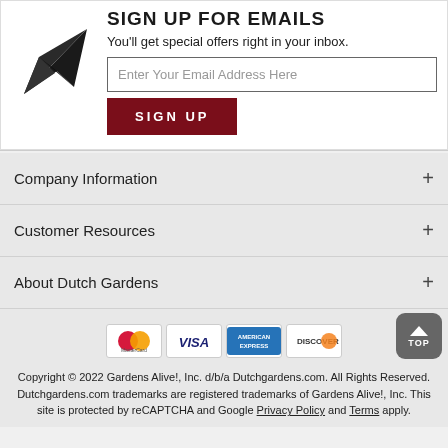[Figure (illustration): Paper airplane icon in dark/black color]
SIGN UP FOR EMAILS
You'll get special offers right in your inbox.
Enter Your Email Address Here
SIGN UP
Company Information
Customer Resources
About Dutch Gardens
[Figure (illustration): Payment method logos: MasterCard, VISA, American Express, Discover]
Copyright © 2022 Gardens Alive!, Inc. d/b/a Dutchgardens.com. All Rights Reserved. Dutchgardens.com trademarks are registered trademarks of Gardens Alive!, Inc. This site is protected by reCAPTCHA and Google Privacy Policy and Terms apply.